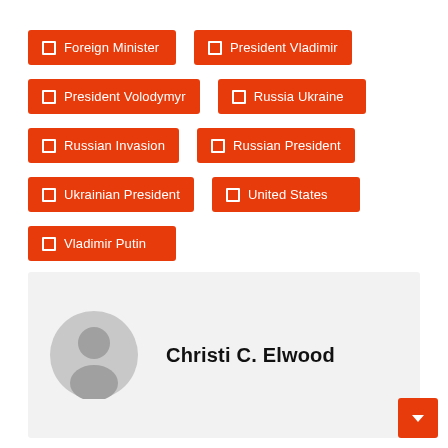☐ Foreign Minister
☐ President Vladimir
☐ President Volodymyr
☐ Russia Ukraine
☐ Russian Invasion
☐ Russian President
☐ Ukrainian President
☐ United States
☐ Vladimir Putin
Christi C. Elwood